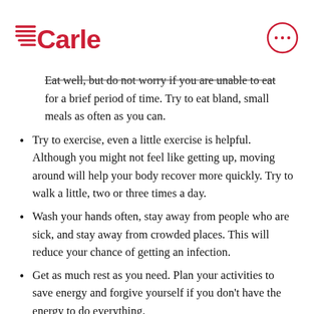[Figure (logo): Carle health system logo with red lines and text]
Eat well, but do not worry if you are unable to eat for a brief period of time. Try to eat bland, small meals as often as you can.
Try to exercise, even a little exercise is helpful. Although you might not feel like getting up, moving around will help your body recover more quickly. Try to walk a little, two or three times a day.
Wash your hands often, stay away from people who are sick, and stay away from crowded places. This will reduce your chance of getting an infection.
Get as much rest as you need. Plan your activities to save energy and forgive yourself if you don't have the energy to do everything.
Try to avoid any activity that can cause cuts, nicks,